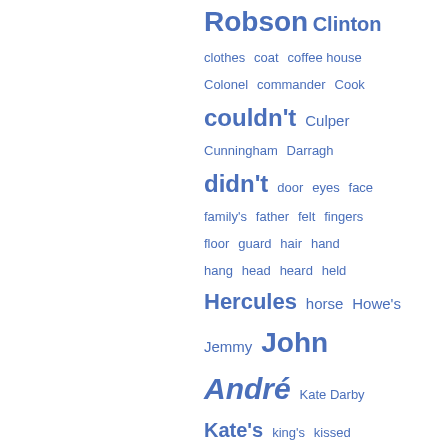[Figure (other): Tag cloud with words related to a historical novel or document, displayed in blue text of varying sizes indicating frequency. Words include: Robson, Clinton, clothes, coat, coffee house, Colonel, commander, Cook, couldn't, Culper, Cunningham, Darragh, didn't, door, eyes, face, family's, father, felt, fingers, floor, guard, hair, hand, hang, head, heard, held, Hercules, horse, Howe's, Jemmy, John André, Kate Darby, Kate's, king's, kissed, laughed, lieutenant, Lizzie, Lizzie's, looked, loyalist, Mischianza, Miss Darby, mother, Mulligan, musket, night, officers]